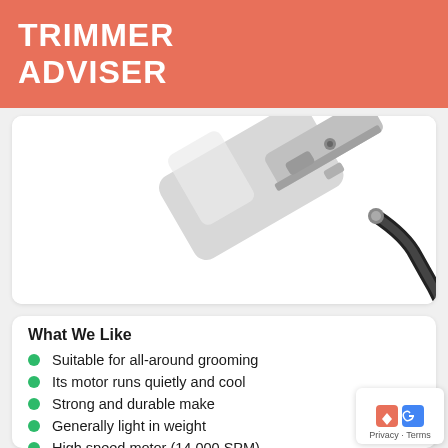TRIMMER ADVISER
[Figure (photo): Close-up photo of a chrome/silver hair trimmer with a black cord attached, shown on white background]
What We Like
Suitable for all-around grooming
Its motor runs quietly and cool
Strong and durable make
Generally light in weight
High speed motor (14,000 SPM)